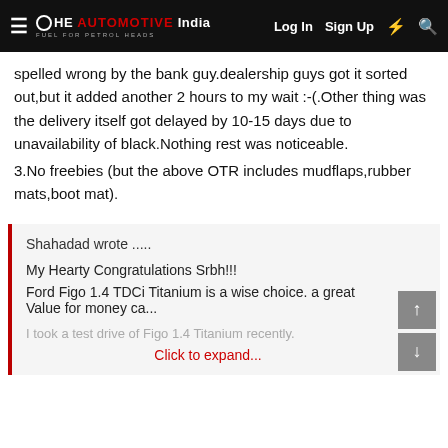The Automotive India — Log In  Sign Up
spelled wrong by the bank guy.dealership guys got it sorted out,but it added another 2 hours to my wait :-(.Other thing was the delivery itself got delayed by 10-15 days due to unavailability of black.Nothing rest was noticeable.
3.No freebies (but the above OTR includes mudflaps,rubber mats,boot mat).
Shahadad wrote .....
My Hearty Congratulations Srbh!!!
Ford Figo 1.4 TDCi Titanium is a wise choice. a great Value for money ca...
I took a test drive of Figo 1.4 Titanium recently.
Click to expand...